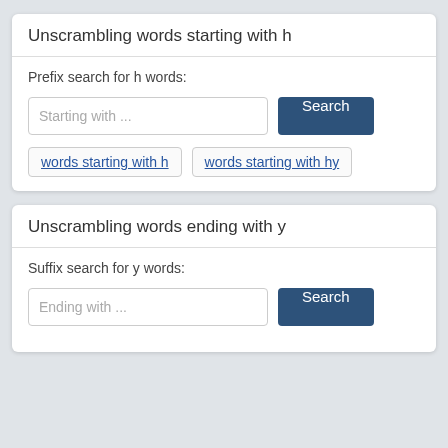Unscrambling words starting with h
Prefix search for h words:
Starting with ...
Search
words starting with h
words starting with hy
Unscrambling words ending with y
Suffix search for y words:
Ending with ...
Search